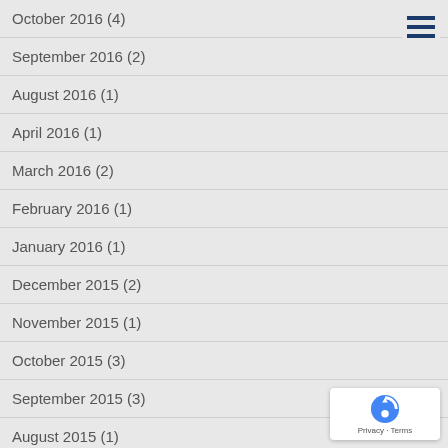October 2016 (4)
September 2016 (2)
August 2016 (1)
April 2016 (1)
March 2016 (2)
February 2016 (1)
January 2016 (1)
December 2015 (2)
November 2015 (1)
October 2015 (3)
September 2015 (3)
August 2015 (1)